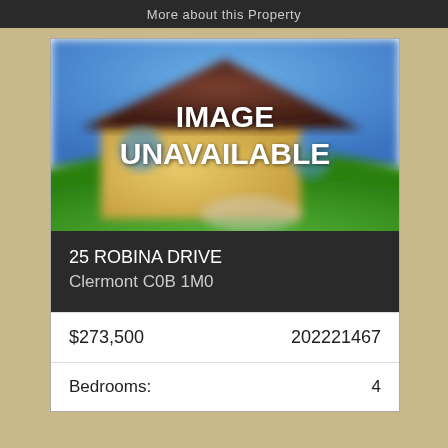More about this Property
[Figure (photo): Blurred/unavailable property image showing a yellow house with red roof and green lawn, blue sky background. Overlay text reads IMAGE UNAVAILABLE.]
25 ROBINA DRIVE
Clermont C0B 1M0
| Price | Listing ID |
| --- | --- |
| $273,500 | 202221467 |
| Feature | Value |
| --- | --- |
| Bedrooms: | 4 |